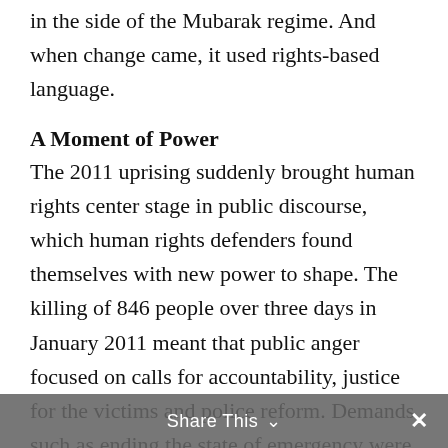in the side of the Mubarak regime. And when change came, it used rights-based language.
A Moment of Power
The 2011 uprising suddenly brought human rights center stage in public discourse, which human rights defenders found themselves with new power to shape. The killing of 846 people over three days in January 2011 meant that public anger focused on calls for accountability, justice for the victims and police reform. Demands such as ending the state of emergency were repeated everywhere by protesters and pro-revolution politicians, many of whom probably could not have explained the provisions of the law or why it mattered. Thus did the human rights community succeed in
Share This ∨  ✕